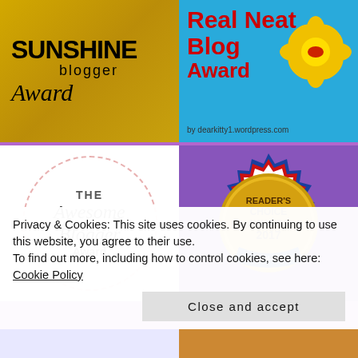[Figure (illustration): Sunshine Blogger Award logo — gold/yellow background with sepia cricket player image, bold black text 'SUNSHINE blogger Award' in mixed fonts]
[Figure (illustration): Real Neat Blog Award — blue background with red bold text 'Real Neat Blog Award', yellow daisy flower graphic, attribution 'by dearkitty1.wordpress.com']
[Figure (illustration): The Awesome Blogger Award — white background with pink dashed circle containing italic script text 'THE Awesome Blogger Award']
[Figure (illustration): Reader's Choice Awards 2017 — gold seal/badge with red/blue/white ribbon border, text 'READER'S CHOICE AWARDS 2017' and partial 'OK PUBLISHING' at bottom]
Privacy & Cookies: This site uses cookies. By continuing to use this website, you agree to their use.
To find out more, including how to control cookies, see here: Cookie Policy
Close and accept